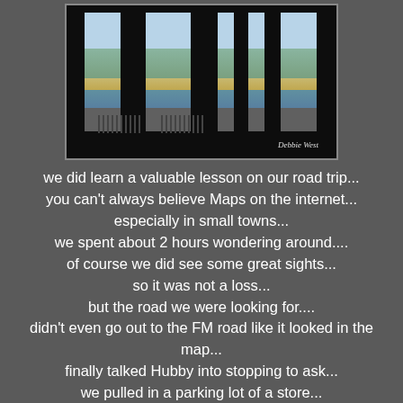[Figure (photo): A dark interior room with tall narrow windows allowing views of a landscape outside, showing sky, trees, hills, water, and fence. A handwritten signature 'Debbie West' is in the lower right of the photo.]
we did learn a valuable lesson on our road trip...
you can't always believe Maps on the internet...
especially in small towns...
we spent about 2 hours wondering around....
of course we did see some great sights...
so it was not a loss...
but the road we were looking for....
didn't even go out to the FM road like it looked in the map...
finally talked Hubby into stopping to ask...
we pulled in a parking lot of a store...
a volunteer fire dept group pulled in...